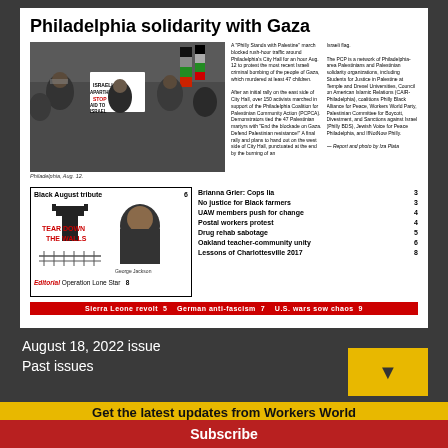[Figure (screenshot): Newspaper front page thumbnail showing 'Philadelphia solidarity with Gaza' headline with protest photo and table of contents]
Philadelphia solidarity with Gaza
A 'Philly Stands with Palestine' march blocked rush-hour traffic around Philadelphia's City Hall for an hour Aug. 12 to protest the most recent Israeli criminal bombing of the people of Gaza, which murdered at least 47 children.
The PCP is a network of Philadelphia-area Palestinian and Palestinian solidarity organizations, including Students for Justice in Palestine at Temple and Drexel Universities, Council on American Islamic Relations (CAIR-Philadelphia), coalitions Philly Black Alliance for Peace, Workers World Party, Palestinian Committee for Boycott, Divestment, and Sanctions against Israel (Philly BDS), Jewish Voice for Peace Philadelphia, and IfNotNow Philly.
[Figure (other): Black August tribute illustration with prison tower and portrait of George Jackson]
Brianna Grier: Cops lia   3
No justice for Black farmers   3
UAW members push for change   4
Postal workers protest   4
Drug rehab sabotage   5
Oakland teacher-community unity   6
Editorial  Operation Lone Star   8
Lessons of Charlottesville 2017   8
Sierra Leone revolt 5   German anti-fascism 7   U.S. wars sow chaos 9
August 18, 2022 issue
Past issues
Get the latest updates from Workers World
Email address
Subscribe